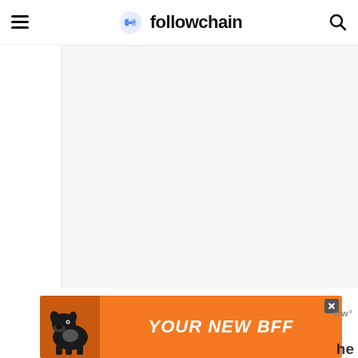followchain
[Figure (other): Large white rectangular ad loading placeholder with three small grey loading dots in the center]
[Figure (other): Orange advertisement banner at bottom reading YOUR NEW BFF with a black dog image on the left and a close button]